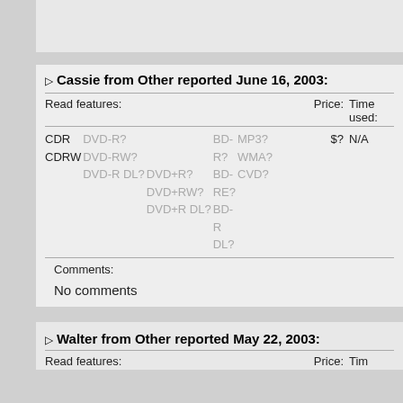Cassie from Other reported June 16, 2003:
| Read features: | Price: | Time used: |
| --- | --- | --- |
| CDR CDRW DVD-R? DVD-RW? DVD-R DL? DVD+R? DVD+RW? DVD+R DL? BD-R? BD-RE? BD-R DL? MP3? WMA? CVD? | $? | N/A |
Comments:
No comments
Walter from Other reported May 22, 2003:
Read features:
Price:
Tim